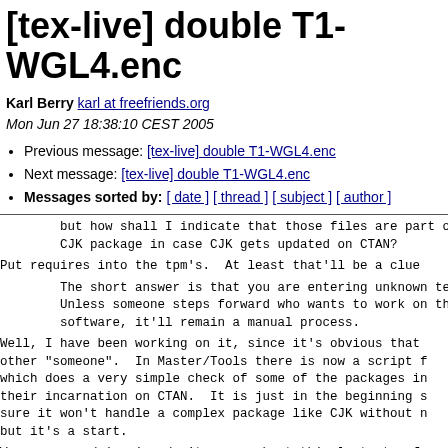[tex-live] double T1-WGL4.enc
Karl Berry karl at freefriends.org
Mon Jun 27 18:38:10 CEST 2005
Previous message: [tex-live] double T1-WGL4.enc
Next message: [tex-live] double T1-WGL4.enc
Messages sorted by: [ date ] [ thread ] [ subject ] [ author ]
but how shall I indicate that those files are part of
CJK package in case CJK gets updated on CTAN?
Put requires into the tpm's.  At least that'll be a clue
The short answer is that you are entering unknown te
Unless someone steps forward who wants to work on the
software, it'll remain a manual process.
Well, I have been working on it, since it's obvious that
other "someone".  In Master/Tools there is now a script
which does a very simple check of some of the packages in
their incarnation on CTAN.  It is just in the beginning s
sure it won't handle a complex package like CJK without n
but it's a start.
Werner, my advice is, don't worry about this last step f